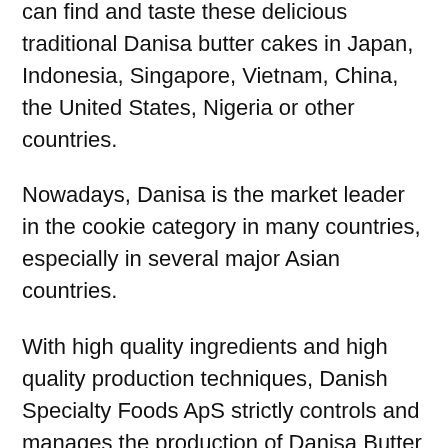countries and regions throughout the world. Consumers can find and taste these delicious traditional Danisa butter cakes in Japan, Indonesia, Singapore, Vietnam, China, the United States, Nigeria or other countries.
Nowadays, Danisa is the market leader in the cookie category in many countries, especially in several major Asian countries.
With high quality ingredients and high quality production techniques, Danish Specialty Foods ApS strictly controls and manages the production of Danisa Butter Cookies in its production plants in Stovring, Denmark and in Indonesia.
Danisa butter cookies still use the “the same brand with